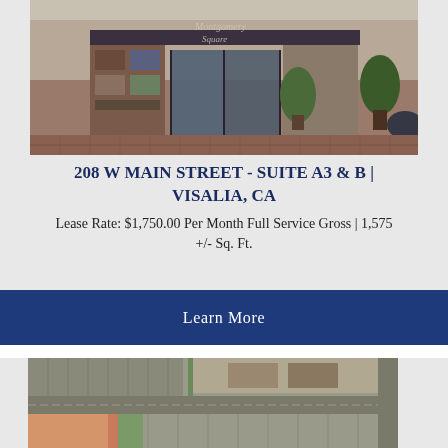[Figure (photo): Exterior storefront photo of Montgomery Square building with glass doors and brick facade]
208 W MAIN STREET - SUITE A3 & B | VISALIA, CA
Lease Rate: $1,750.00 Per Month Full Service Gross | 1,575 +/- Sq. Ft.
Learn More
[Figure (photo): Aerial/satellite view of downtown Visalia block showing parking lots and streets]